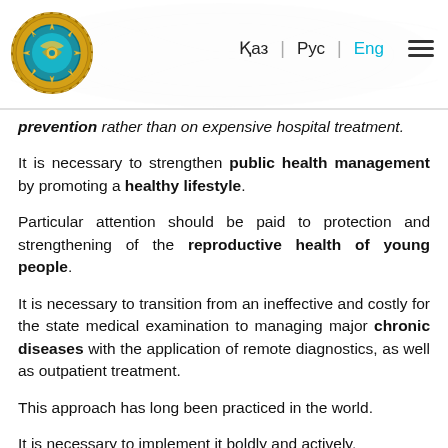Қаз | Рус | Eng
prevention rather than on expensive hospital treatment.
It is necessary to strengthen public health management by promoting a healthy lifestyle.
Particular attention should be paid to protection and strengthening of the reproductive health of young people.
It is necessary to transition from an ineffective and costly for the state medical examination to managing major chronic diseases with the application of remote diagnostics, as well as outpatient treatment.
This approach has long been practiced in the world.
It is necessary to implement it boldly and actively.